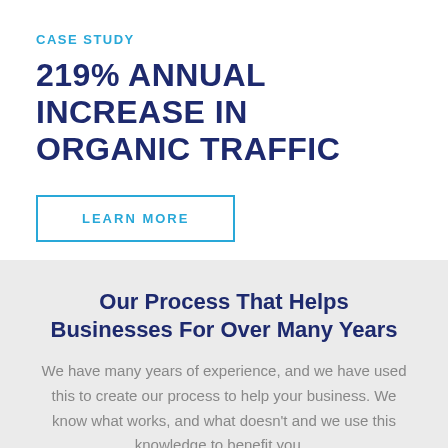CASE STUDY
219% ANNUAL INCREASE IN ORGANIC TRAFFIC
LEARN MORE
Our Process That Helps Businesses For Over Many Years
We have many years of experience, and we have used this to create our process to help your business. We know what works, and what doesn't and we use this knowledge to benefit you...